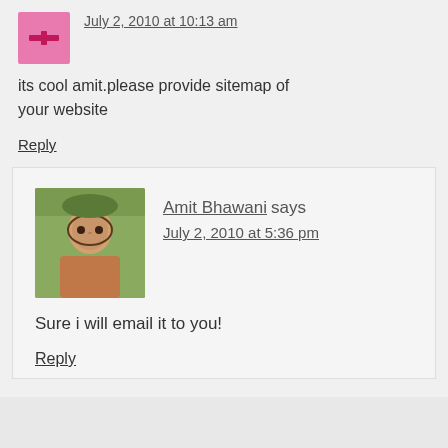July 2, 2010 at 10:13 am
its cool amit.please provide sitemap of your website
Reply
Amit Bhawani says
July 2, 2010 at 5:36 pm
Sure i will email it to you!
Reply